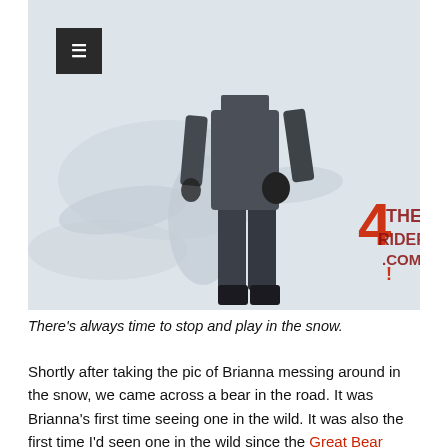[Figure (photo): A person in dark winter gear (jacket, pants, gloves) standing in snow. Behind them in the snow is the impression of a snow angel. A watermark reads '4 THE RIDERS .COM' in red and dark red text overlaid on the lower right of the image.]
There's always time to stop and play in the snow.
Shortly after taking the pic of Brianna messing around in the snow, we came across a bear in the road. It was Brianna's first time seeing one in the wild. It was also the first time I'd seen one in the wild since the Great Bear Debacle of 2011. Haha! I